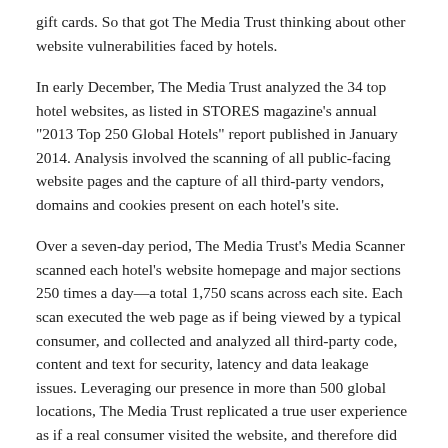gift cards. So that got The Media Trust thinking about other website vulnerabilities faced by hotels.
In early December, The Media Trust analyzed the 34 top hotel websites, as listed in STORES magazine's annual "2013 Top 250 Global Hotels" report published in January 2014. Analysis involved the scanning of all public-facing website pages and the capture of all third-party vendors, domains and cookies present on each hotel's site.
Over a seven-day period, The Media Trust's Media Scanner scanned each hotel's website homepage and major sections 250 times a day—a total 1,750 scans across each site. Each scan executed the web page as if being viewed by a typical consumer, and collected and analyzed all third-party code, content and text for security, latency and data leakage issues. Leveraging our presence in more than 500 global locations, The Media Trust replicated a true user experience as if a real consumer visited the website, and therefore did not have the ability to collect actual visitor data.
The results were interesting. The average site utilized 47 different...